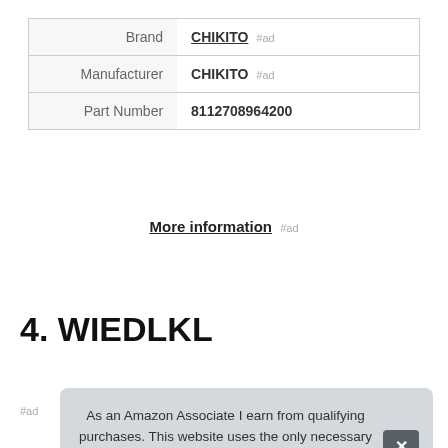|  |  |
| --- | --- |
| Brand | CHIKITO #ad |
| Manufacturer | CHIKITO #ad |
| Part Number | 8112708964200 |
More information #ad
4. WIEDLKL
#ad
As an Amazon Associate I earn from qualifying purchases. This website uses the only necessary cookies to ensure you get the best experience on our website. More information